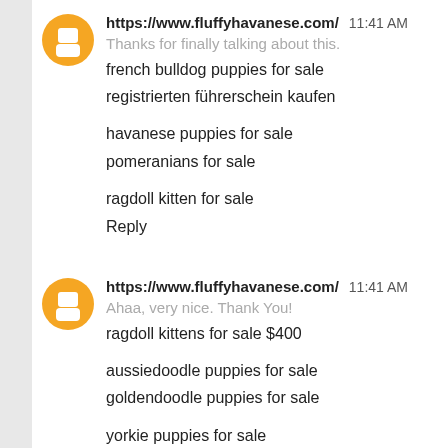https://www.fluffyhavanese.com/  11:41 AM
Thanks for finally talking about this.
french bulldog puppies for sale
registrierten führerschein kaufen

havanese puppies for sale
pomeranians for sale

ragdoll kitten for sale

Reply
https://www.fluffyhavanese.com/  11:41 AM
Ahaa, very nice. Thank You!
ragdoll kittens for sale $400

aussiedoodle puppies for sale
goldendoodle puppies for sale

yorkie puppies for sale
führerschein kaufen legal